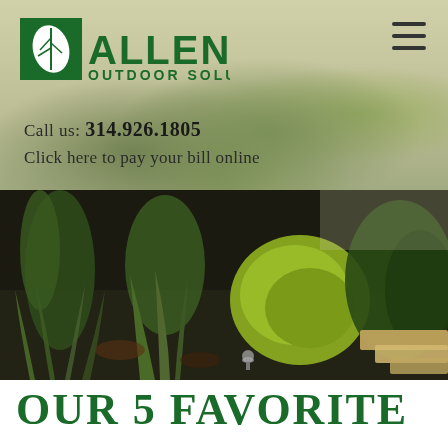[Figure (logo): Allen Outdoor Solutions logo with green leaf icon and bold green text]
Call us: 314.926.1805
Click here to pay your bill online
[Figure (photo): Landscaping photo showing garden beds with ornamental grasses, yellow-green shrubs, dark mulch, and stone steps]
OUR 5 FAVORITE